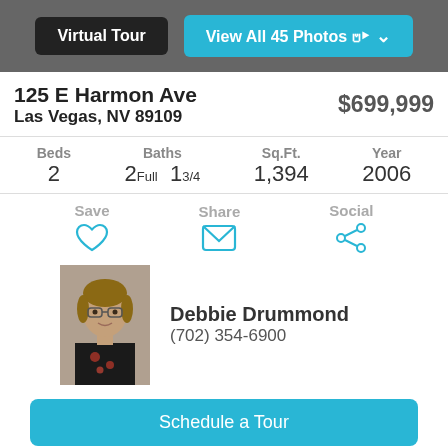[Figure (screenshot): Top navigation bar with two buttons: 'Virtual Tour' (dark) and 'View All 45 Photos ⌄' (blue)]
125 E Harmon Ave
Las Vegas, NV 89109
$699,999
| Beds | Baths | Sq.Ft. | Year |
| --- | --- | --- | --- |
| 2 | 2Full  13/4 | 1,394 | 2006 |
Save | Share | Social
[Figure (photo): Photo of agent Debbie Drummond, a woman with glasses wearing a black top with floral pattern]
Debbie Drummond
(702) 354-6900
Schedule a Tour
Ask a Question